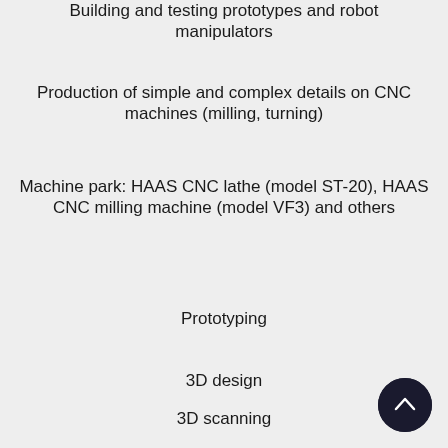Building and testing prototypes and robot manipulators
Production of simple and complex details on CNC machines (milling, turning)
Machine park: HAAS CNC lathe (model ST-20), HAAS CNC milling machine (model VF3) and others
Prototyping
3D design
3D scanning
[Figure (illustration): Dark circular scroll-to-top button with upward chevron arrow icon, positioned bottom-right corner]